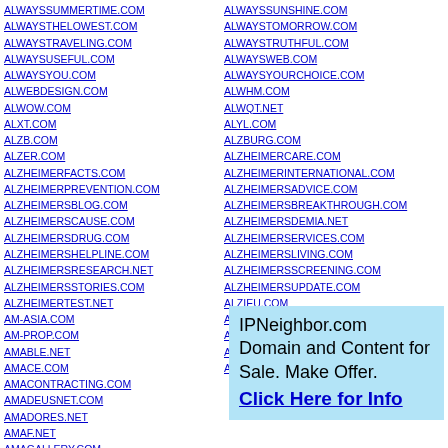ALWAYSSUMMERTIME.COM
ALWAYSTHELOWEST.COM
ALWAYSTRAVELING.COM
ALWAYSUSEFUL.COM
ALWAYSYOU.COM
ALWEBDESIGN.COM
ALWOW.COM
ALXT.COM
ALZB.COM
ALZER.COM
ALZHEIMERFACTS.COM
ALZHEIMERPREVENTION.COM
ALZHEIMERSBLOG.COM
ALZHEIMERSCAUSE.COM
ALZHEIMERSDRUG.COM
ALZHEIMERSHELPLINE.COM
ALZHEIMERSRESEARCH.NET
ALZHEIMERSSTORIES.COM
ALZHEIMERTEST.NET
AM-ASIA.COM
AM-PROP.COM
AMABLE.NET
AMACE.COM
AMACONTRACTING.COM
AMADEUSNET.COM
AMADORES.NET
AMAF.NET
AMAGALLERY.COM
ALWAYSSUNSHINE.COM
ALWAYSTOMORROW.COM
ALWAYSTRUTHFUL.COM
ALWAYSWEB.COM
ALWAYSYOURCHOICE.COM
ALWHM.COM
ALWQT.NET
ALYL.COM
ALZBURG.COM
ALZHEIMERCARE.COM
ALZHEIMERINTERNATIONAL.COM
ALZHEIMERSADVICE.COM
ALZHEIMERSBREAKTHROUGH.COM
ALZHEIMERSDEMIA.NET
ALZHEIMERSERVICES.COM
ALZHEIMERSLIVING.COM
ALZHEIMERSSCREENING.COM
ALZHEIMERSUPDATE.COM
ALZIEU.COM
AM-I.COM
AM-SYS.COM
AMACA.NET
AMACI.COM
IPNeighbor.com Domain and Content for Sale. Make Offer. Click Here for Info